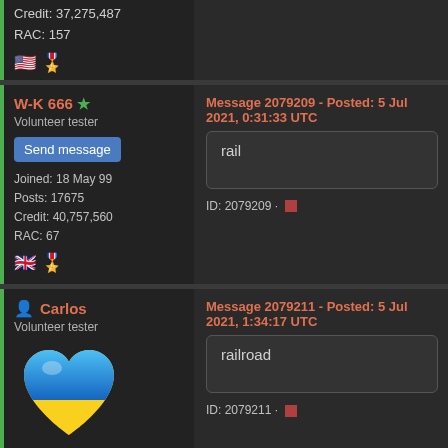Credit: 37,275,487
RAC: 157
W-K 666 ★ Volunteer tester
Send message
Joined: 18 May 99
Posts: 17675
Credit: 40,757,560
RAC: 67
Message 2079209 - Posted: 5 Jul 2021, 0:31:33 UTC
rail
ID: 2079209 ·
Carlos Volunteer tester
Message 2079211 - Posted: 5 Jul 2021, 1:34:17 UTC
[Figure (illustration): Blue and yellow Ukrainian flag heart-shaped image]
railroad
ID: 2079211 ·
Send message